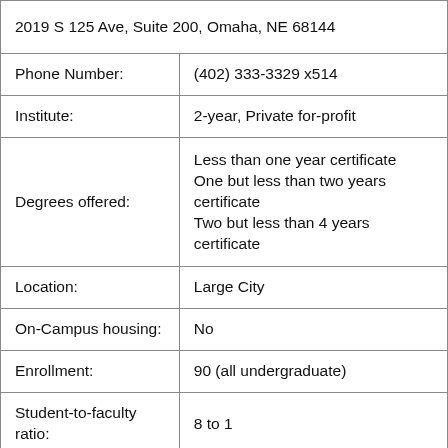| Field | Value |
| --- | --- |
| 2019 S 125 Ave, Suite 200, Omaha, NE 68144 |  |
| Phone Number: | (402) 333-3329 x514 |
| Institute: | 2-year, Private for-profit |
| Degrees offered: | Less than one year certificate
One but less than two years certificate
Two but less than 4 years certificate |
| Location: | Large City |
| On-Campus housing: | No |
| Enrollment: | 90 (all undergraduate) |
| Student-to-faculty ratio: | 8 to 1 |